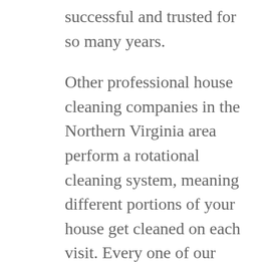successful and trusted for so many years.
Other professional house cleaning companies in the Northern Virginia area perform a rotational cleaning system, meaning different portions of your house get cleaned on each visit. Every one of our maids perform the same Platinum-50 Care System on every appointment, ensuring that you get the maximum service every visit.
Other house cleaning services will even distinguish between spring cleaning and full house cleaning but here at Platinum